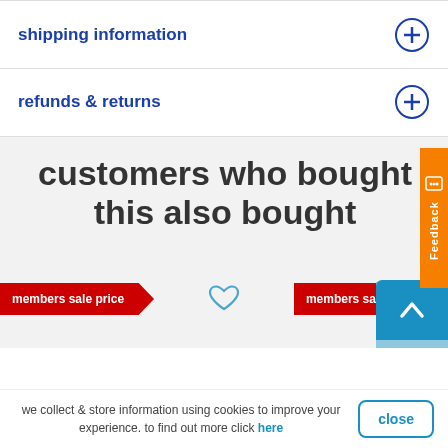shipping information
refunds & returns
customers who bought this also bought
members sale price
members sale price
we collect & store information using cookies to improve your experience. to find out more click here